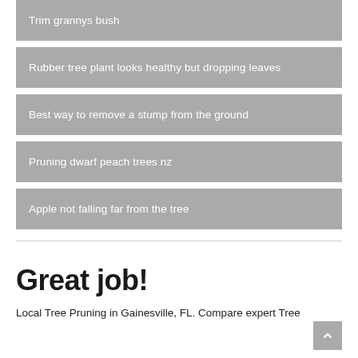Trim grannys bush
Rubber tree plant looks healthy but dropping leaves
Best way to remove a stump from the ground
Pruning dwarf peach trees nz
Apple not falling far from the tree
Great job!
Local Tree Pruning in Gainesville, FL. Compare expert Tree